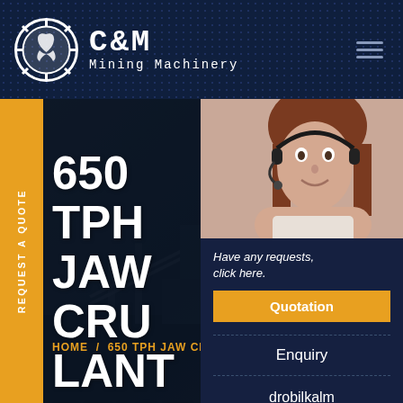[Figure (logo): C&M Mining Machinery logo with gear/claw icon in white circle on dark navy dotted background header]
[Figure (screenshot): Website screenshot showing 650 TPH JAW CRUSHER PLANT PRICE hero section with dark overlay on mining plant background, yellow REQUEST A QUOTE side tab, and right panel with customer service agent photo, Quotation button, Enquiry and drobilkalm@gmail.com contact info]
650 TPH JAW CRUSHER PLANT PRICE
HOME / 650 TPH JAW CRUSH PLA...
Have any requests, click here.
Quotation
Enquiry
drobilkalm@gmail.com